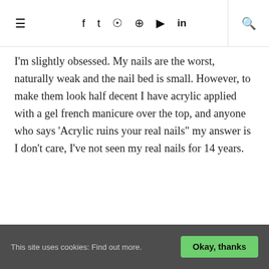≡  f  t  ⊙  ⊕  ▶  in  🔍
I'm slightly obsessed. My nails are the worst, naturally weak and the nail bed is small. However, to make them look half decent I have acrylic applied with a gel french manicure over the top, and anyone who says 'Acrylic ruins your real nails" my answer is I don't care, I've not seen my real nails for 14 years.
www.fklondon.com
www.handchemistry.com
Share  f  t  ⊕  G+
This site uses cookies: Find out more.  Okay, thanks